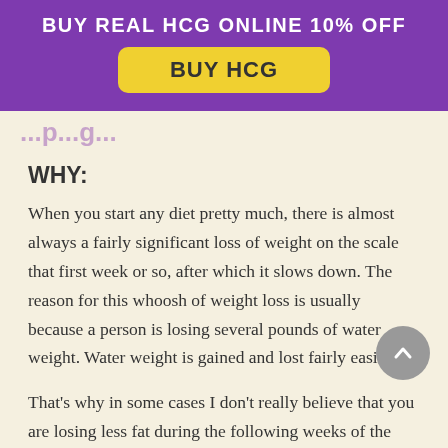[Figure (infographic): Purple banner advertisement with text 'BUY REAL HCG ONLINE 10% OFF' and a yellow button labeled 'BUY HCG']
...p...g...
WHY:
When you start any diet pretty much, there is almost always a fairly significant loss of weight on the scale that first week or so, after which it slows down. The reason for this whoosh of weight loss is usually because a person is losing several pounds of water weight. Water weight is gained and lost fairly easily.
That's why in some cases I don't really believe that you are losing less fat during the following weeks of the hCG